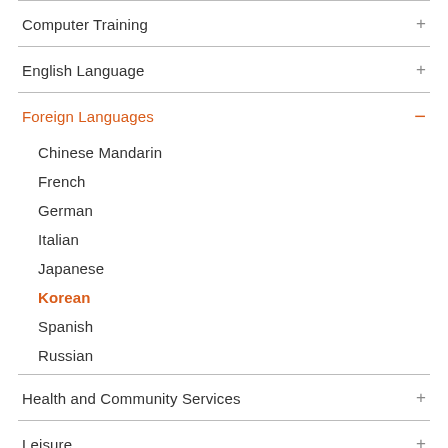Computer Training +
English Language +
Foreign Languages -
Chinese Mandarin
French
German
Italian
Japanese
Korean
Spanish
Russian
Health and Community Services +
Leisure +